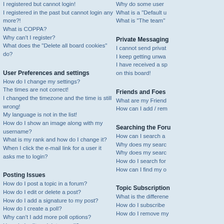I registered but cannot login!
I registered in the past but cannot login any more?!
What is COPPA?
Why can't I register?
What does the “Delete all board cookies” do?
User Preferences and settings
How do I change my settings?
The times are not correct!
I changed the timezone and the time is still wrong!
My language is not in the list!
How do I show an image along with my username?
What is my rank and how do I change it?
When I click the e-mail link for a user it asks me to login?
Posting Issues
How do I post a topic in a forum?
How do I edit or delete a post?
How do I add a signature to my post?
How do I create a poll?
Why can't I add more poll options?
How do I edit or delete a poll?
Why can't I access a forum?
Why can't I add attachments?
Why did I receive a warning?
How can I report posts to a moderator?
What is the “Save” button for in topic posting?
Why does my post need to be approved?
Why do some user
What is a “Default u
What is “The team”
Private Messaging
I cannot send privat
I keep getting unwa
I have received a sp on this board!
Friends and Foes
What are my Friend
How can I add / rem
Searching the Foru
How can I search a
Why does my searc
Why does my searc
How do I search for
How can I find my o
Topic Subscription
What is the differene
How do I subscribe
How do I remove my
Attachments
What attachments